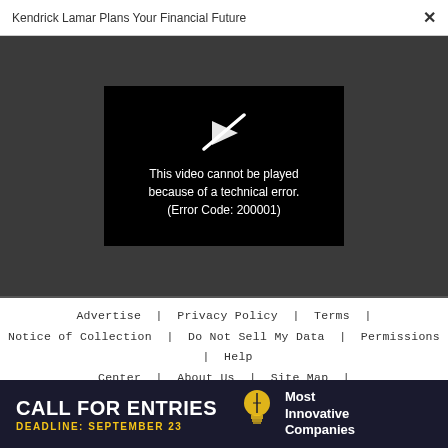Kendrick Lamar Plans Your Financial Future
[Figure (screenshot): Video player showing error: 'This video cannot be played because of a technical error. (Error Code: 200001)' on black background within a dark gray area]
Advertise | Privacy Policy | Terms | Notice of Collection | Do Not Sell My Data | Permissions | Help Center | About Us | Site Map | Fast Company & Inc © 2022 Mansueto Ventures, LLC
[Figure (infographic): Advertisement banner: CALL FOR ENTRIES DEADLINE: SEPTEMBER 23 — Most Innovative Companies]